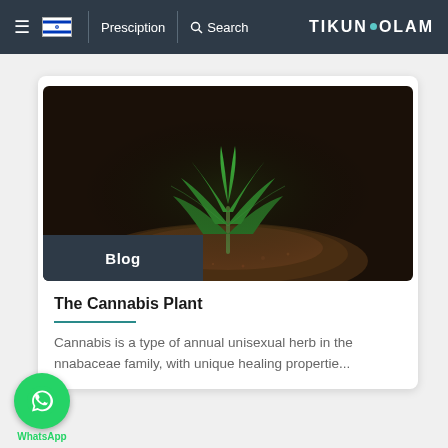≡  [Israel flag]  |  Presciption  |  🔍 Search  TIKUN•OLAM
[Figure (photo): Close-up photograph of a young cannabis seedling with bright green leaves growing out of dark soil against a dark background. A dark navy 'Blog' label badge overlays the bottom-left corner of the image.]
The Cannabis Plant
Cannabis is a type of annual unisexual herb in the nnabaceae family, with unique healing propertie...